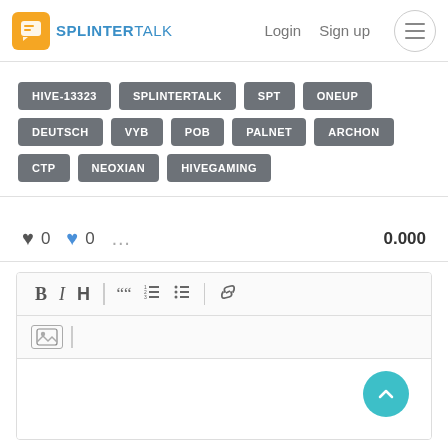SPLINTERTALK — Login  Sign up
HIVE-13323
SPLINTERTALK
SPT
ONEUP
DEUTSCH
VYB
POB
PALNET
ARCHON
CTP
NEOXIAN
HIVEGAMING
♥ 0   ♥ 0   ···   0.000
[Figure (screenshot): Comment editor toolbar with Bold, Italic, Heading, Quote, Ordered List, Unordered List, Link buttons, and an image insert button below. An empty text area is shown beneath the toolbar.]